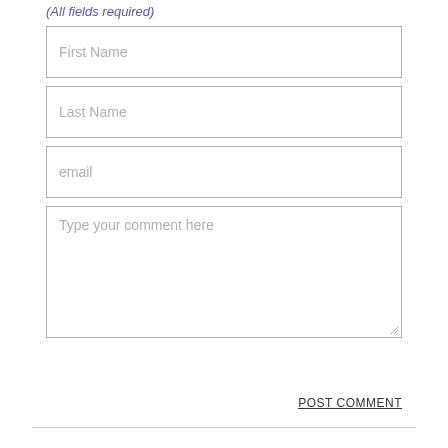(All fields required)
First Name
Last Name
email
Type your comment here
POST COMMENT